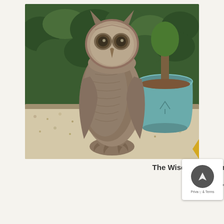[Figure (photo): A bronze/stone owl garden statue sitting on a rock, surrounded by gravel and with green garden hedges and a teal ceramic plant pot in the background.]
The Wise Owl – Bronze Urns for the Garden
£1,200.00